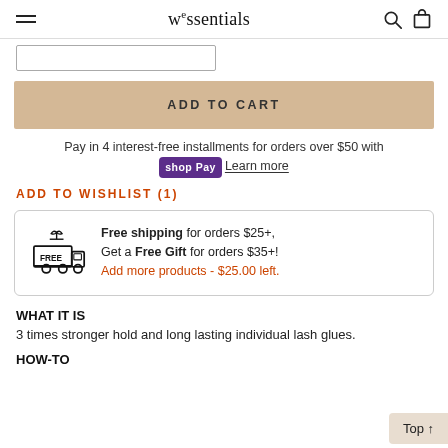wessentials
ADD TO CART
Pay in 4 interest-free installments for orders over $50 with shop Pay Learn more
ADD TO WISHLIST (1)
[Figure (illustration): Free shipping truck icon with gift bow and FREE label]
Free shipping for orders $25+, Get a Free Gift for orders $35+! Add more products - $25.00 left.
WHAT IT IS
3 times stronger hold and long lasting individual lash glues.
HOW-TO